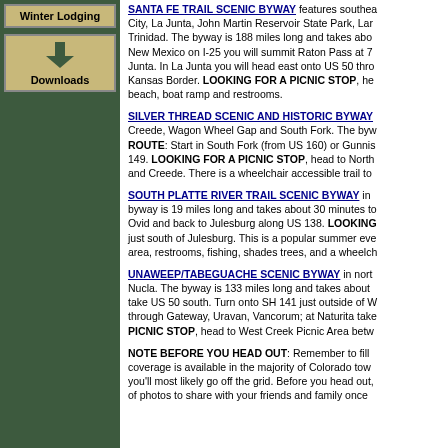Winter Lodging
[Figure (illustration): Downloads button with download arrow icon on tan/gold background]
SANTA FE TRAIL SCENIC BYWAY features southeast... City, La Junta, John Martin Reservoir State Park, La... Trinidad. The byway is 188 miles long and takes abo... New Mexico on I-25 you will summit Raton Pass at 7... Junta. In La Junta you will head east onto US 50 thr... Kansas Border. LOOKING FOR A PICNIC STOP, he... beach, boat ramp and restrooms.
SILVER THREAD SCENIC AND HISTORIC BYWAY... Creede, Wagon Wheel Gap and South Fork. The byw... ROUTE: Start in South Fork (from US 160) or Gunnis... 149. LOOKING FOR A PICNIC STOP, head to North... and Creede. There is a wheelchair accessible trail to...
SOUTH PLATTE RIVER TRAIL SCENIC BYWAY in... byway is 19 miles long and takes about 30 minutes to... Ovid and back to Julesburg along US 138. LOOKING... just south of Julesburg. This is a popular summer eve... area, restrooms, fishing, shades trees, and a wheelch...
UNAWEEP/TABEGUACHE SCENIC BYWAY in nort... Nucla. The byway is 133 miles long and takes about... take US 50 south. Turn onto SH 141 just outside of W... through Gateway, Uravan, Vancorum; at Naturita take... PICNIC STOP, head to West Creek Picnic Area betw...
NOTE BEFORE YOU HEAD OUT: Remember to fill... coverage is available in the majority of Colorado tow... you'll most likely go off the grid. Before you head out,... of photos to share with your friends and family once...